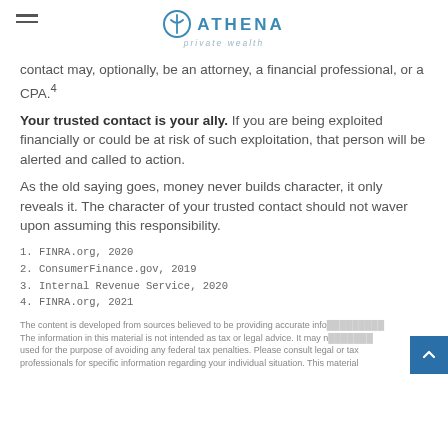ATHENA private wealth
contact may, optionally, be an attorney, a financial professional, or a CPA.4
Your trusted contact is your ally. If you are being exploited financially or could be at risk of such exploitation, that person will be alerted and called to action.
As the old saying goes, money never builds character, it only reveals it. The character of your trusted contact should not waver upon assuming this responsibility.
1. FINRA.org, 2020
2. ConsumerFinance.gov, 2019
3. Internal Revenue Service, 2020
4. FINRA.org, 2021
The content is developed from sources believed to be providing accurate info... The information in this material is not intended as tax or legal advice. It may n... used for the purpose of avoiding any federal tax penalties. Please consult legal or tax professionals for specific information regarding your individual situation. This material